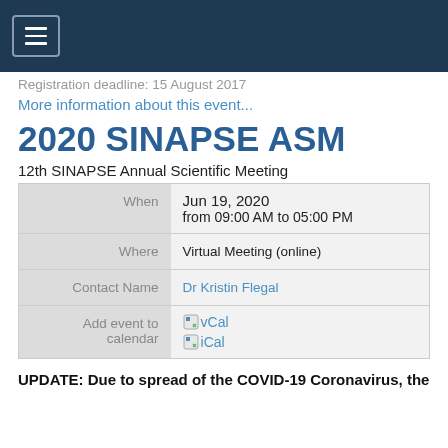[Figure (screenshot): Dark navy navigation bar with hamburger menu icon (three horizontal lines) in a rounded rectangle button]
Registration deadline: 15 August 2017
More information about this event...
2020 SINAPSE ASM
12th SINAPSE Annual Scientific Meeting
| When | Jun 19, 2020
from 09:00 AM to 05:00 PM |
| Where | Virtual Meeting (online) |
| Contact Name | Dr Kristin Flegal |
| Add event to calendar | vCal
iCal |
UPDATE: Due to spread of the COVID-19 Coronavirus, the